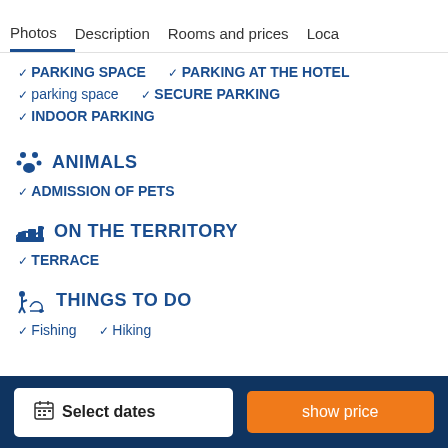Photos   Description   Rooms and prices   Loca
PARKING SPACE
PARKING AT THE HOTEL
parking space
SECURE PARKING
INDOOR PARKING
ANIMALS
ADMISSION OF PETS
ON THE TERRITORY
TERRACE
THINGS TO DO
Fishing
Hiking